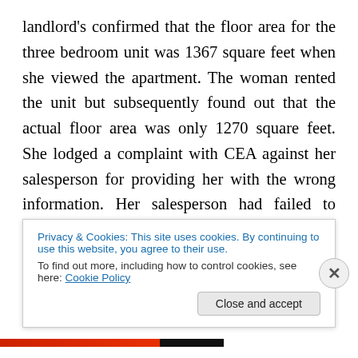landlord's confirmed that the floor area for the three bedroom unit was 1367 square feet when she viewed the apartment. The woman rented the unit but subsequently found out that the actual floor area was only 1270 square feet. She lodged a complaint with CEA against her salesperson for providing her with the wrong information. Her salesperson had failed to verify the information given by the landlord's salesperson on the floor area. The landlord's salesperson admitted her mistake too and claimed that the owner had given her the wrong information. Both salespersons subsequently received a
Privacy & Cookies: This site uses cookies. By continuing to use this website, you agree to their use.
To find out more, including how to control cookies, see here: Cookie Policy
Close and accept